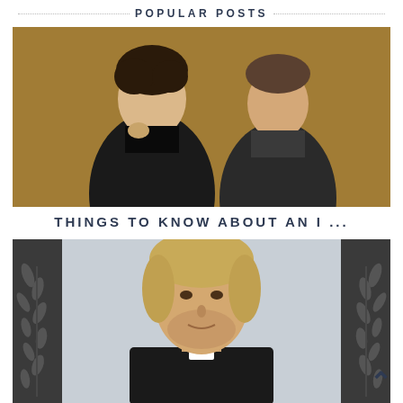POPULAR POSTS
[Figure (photo): Two men posing against a decorative wallpaper background — appears to be promotional photo for the BBC Sherlock series]
THINGS TO KNOW ABOUT AN I ...
[Figure (photo): Man with blonde/gray hair wearing a priest's collar and dark jacket, with decorative dark panels on either side featuring leaf/branch motifs]